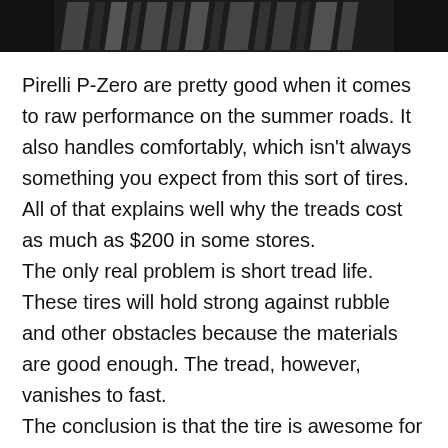[Figure (photo): Top portion of a dark/black and white image showing what appears to be a tire or automotive product, cropped at the top of the page.]
Pirelli P-Zero are pretty good when it comes to raw performance on the summer roads. It also handles comfortably, which isn't always something you expect from this sort of tires. All of that explains well why the treads cost as much as $200 in some stores. The only real problem is short tread life. These tires will hold strong against rubble and other obstacles because the materials are good enough. The tread, however, vanishes to fast. The conclusion is that the tire is awesome for people who need it. If the driver wants to drive fast over countryside roads without having to worry about